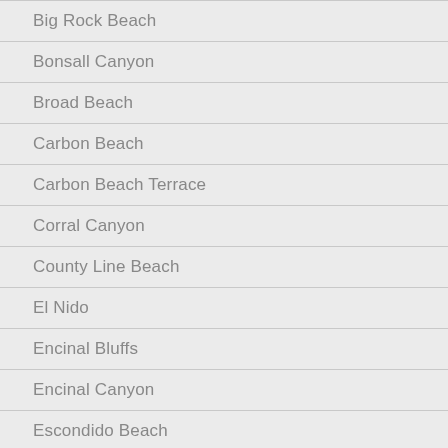Big Rock Beach
Bonsall Canyon
Broad Beach
Carbon Beach
Carbon Beach Terrace
Corral Canyon
County Line Beach
El Nido
Encinal Bluffs
Encinal Canyon
Escondido Beach